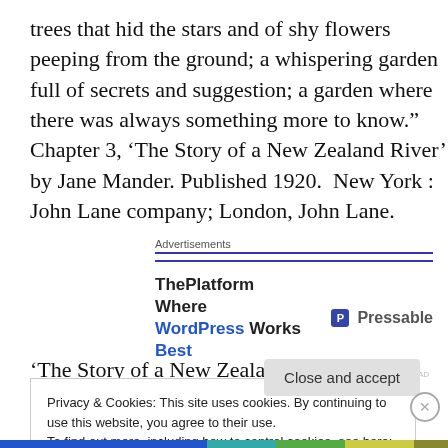trees that hid the stars and of shy flowers peeping from the ground; a whispering garden full of secrets and suggestion; a garden where there was always something more to know.” Chapter 3, ‘The Story of a New Zealand River’ by Jane Mander. Published 1920.  New York : John Lane company; London, John Lane.
[Figure (other): WordPress/Pressable advertisement banner with heading 'ThePlatform Where WordPress Works Best' and Pressable logo]
‘The Story of a New Zealand River’ is regarded as a New
Privacy & Cookies: This site uses cookies. By continuing to use this website, you agree to their use.
To find out more, including how to control cookies, see here: Cookie Policy
Close and accept